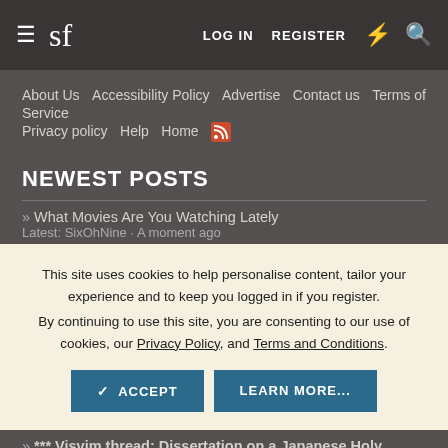sf  LOG IN  REGISTER
About Us  Accessibility Policy  Advertise  Contact us  Terms of Service  Privacy policy  Help  Home
NEWEST POSTS
» What Movies Are You Watching Lately
Latest: SixOhNine · A moment ago
This site uses cookies to help personalise content, tailor your experience and to keep you logged in if you register.
By continuing to use this site, you are consenting to our use of cookies, our Privacy Policy, and Terms and Conditions.
» *** Visvim thread: Dissertation on a Japanese Holy Spirit...
Latest: ibn_pengel · 8 minutes ago
» Scent/Fragrance of the Day thread
Latest: DiplomaticTies · 9 minutes ago
» What Are The Ingredients of Amarose Skin Tag Remover?
Latest: wwhifoffee · 10 minutes ago